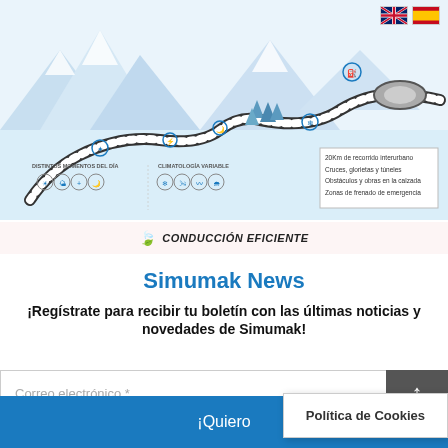[Figure (infographic): Road circuit infographic showing a winding track through snowy mountain scenery with icons for different times of day (DISTINTOS MOMENTOS DEL DÍA) and variable weather conditions (CLIMATOLOGÍA VARIABLE). A legend box lists: 20Km de recorrido interurbano, Cruces, glorietas y túneles, Obstáculos y obras en la calzada, Zonas de frenado de emergencia. UK and Spanish flag icons in top right.]
🍃 CONDUCCIÓN EFICIENTE
Simumak News
¡Regístrate para recibir tu boletín con las últimas noticias y novedades de Simumak!
Correo electrónico *
¡Quiero
Política de Cookies